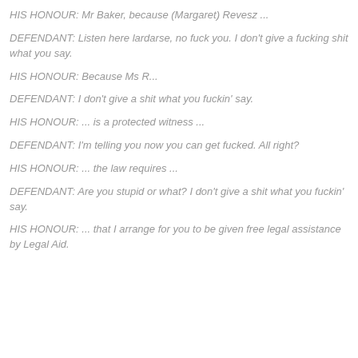HIS HONOUR: Mr Baker, because (Margaret) Revesz ...
DEFENDANT: Listen here lardarse, no fuck you. I don't give a fucking shit what you say.
HIS HONOUR: Because Ms R...
DEFENDANT: I don't give a shit what you fuckin' say.
HIS HONOUR: ... is a protected witness ...
DEFENDANT: I'm telling you now you can get fucked. All right?
HIS HONOUR: ... the law requires ...
DEFENDANT: Are you stupid or what? I don't give a shit what you fuckin' say.
HIS HONOUR: ... that I arrange for you to be given free legal assistance by Legal Aid.